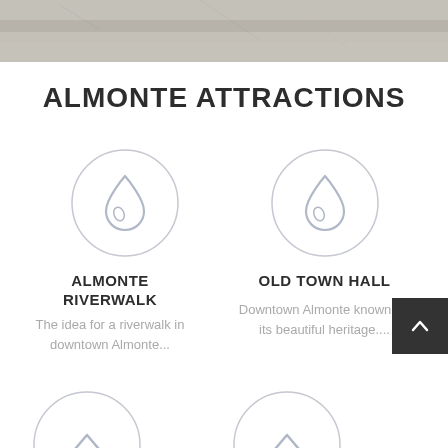[Figure (photo): Top strip showing a textured stone/rock surface in grey tones]
ALMONTE ATTRACTIONS
[Figure (illustration): Circular icon with a water drop symbol, light grey border, white background]
ALMONTE RIVERWALK
The idea for a riverwalk in downtown Almonte...
[Figure (illustration): Circular icon with a water drop symbol, light grey border, white background]
OLD TOWN HALL
Downtown Almonte known for its beautiful heritage....
[Figure (illustration): Partially visible circular icon at bottom left with a chevron/arrow symbol]
[Figure (illustration): Partially visible circular icon at bottom right with a chevron/arrow symbol]